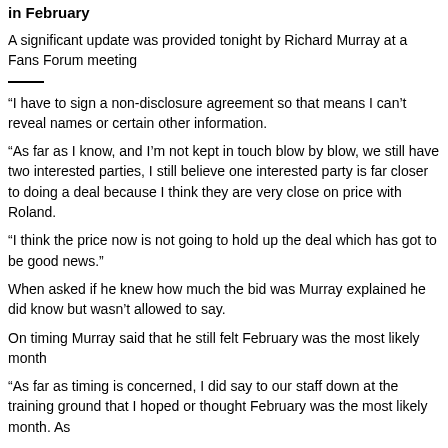in February
A significant update was provided tonight by Richard Murray at a Fans Forum meeting
“I have to sign a non-disclosure agreement so that means I can’t reveal names or certain other information.
“As far as I know, and I’m not kept in touch blow by blow, we still have two interested parties, I still believe one interested party is far closer to doing a deal because I think they are very close on price with Roland.
“I think the price now is not going to hold up the deal which has got to be good news.”
When asked if he knew how much the bid was Murray explained he did know but wasn’t allowed to say.
On timing Murray said that he still felt February was the most likely month
“As far as timing is concerned, I did say to our staff down at the training ground that I hoped or thought February was the most likely month. As